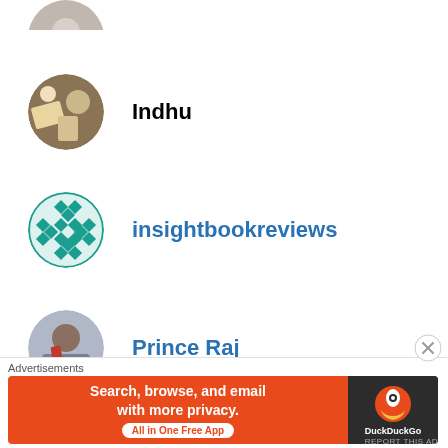[Figure (photo): Partial circular avatar at top of page, cut off]
Indhu
insightbookreviews
Prince Raj
BooksDramas&More
kothsaaks
Advertisements
[Figure (screenshot): DuckDuckGo advertisement banner: Search, browse, and email with more privacy. All in One Free App]